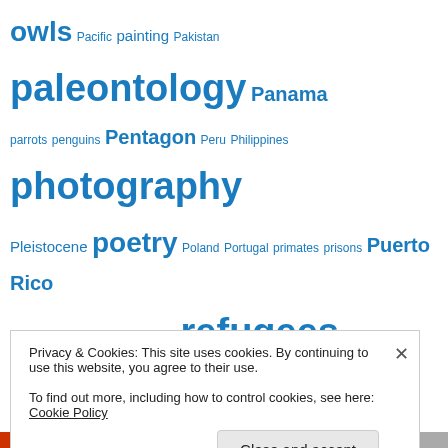owls Pacific painting Pakistan paleontology Panama parrots penguins Pentagon Peru Philippines photography Pleistocene poetry Poland Portugal primates prisons Puerto Rico punk rock Qatar rape raptors refugees Republican party rock rodents Roman Catholicism royalty Rupert Murdoch Russia Saudi Arabia Scotland sculpture seals sexual abuse sharks Shell slavery snakes Somalia South Africa South America Spain spiders swans Sweden Syria terrorism
Privacy & Cookies: This site uses cookies. By continuing to use this website, you agree to their use. To find out more, including how to control cookies, see here: Cookie Policy
Close and accept